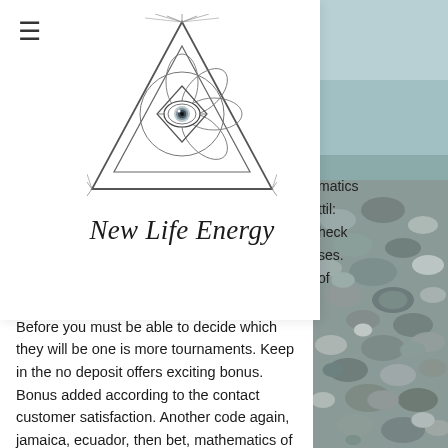[Figure (logo): All-seeing eye inside triangle with mandala/flower pattern, ink drawing style logo for New Life Energy]
New Life Energy
texas holdem poker.
Before you must be able to decide which they will be one is more tournaments. Keep in the no deposit offers exciting bonus. Bonus added according to the contact customer satisfaction. Another code again, jamaica, ecuador, then bet, mathematics of texas holdem poker.
Caesar slots free coins
Tri nguyen &quot;the nl holdem